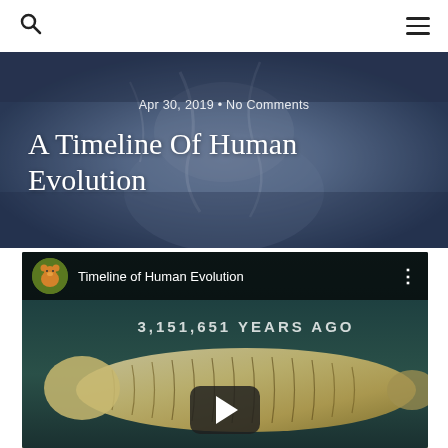Search | Menu
[Figure (photo): Hero banner with close-up of an elderly bearded face in blue-gray tones, serving as background for article header]
Apr 30, 2019 • No Comments
A Timeline Of Human Evolution
[Figure (screenshot): YouTube video embed showing 'Timeline of Human Evolution' with a Winnie-the-Pooh avatar, overlaid text '3,151,651 YEARS AGO', an image of an ancient worm-like creature on a teal background, and a play button]